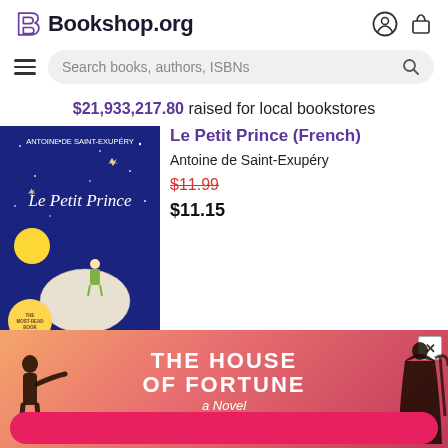Bookshop.org
Search books, authors, ISBNs
$21,933,217.80 raised for local bookstores
Le Petit Prince (French)
Antoine de Saint-Exupéry
$11.99 $11.15
[Figure (illustration): Book cover of Le Petit Prince showing the little prince standing on a small planet against a dark blue starry sky with a moon, by Antoine de Saint-Exupéry]
[Figure (illustration): Advertisement for 'The House of Fortune: A Novel' by Jessie Burton, with gradient pink-to-red background and silhouette figures on sides, with a close button in the top right corner]